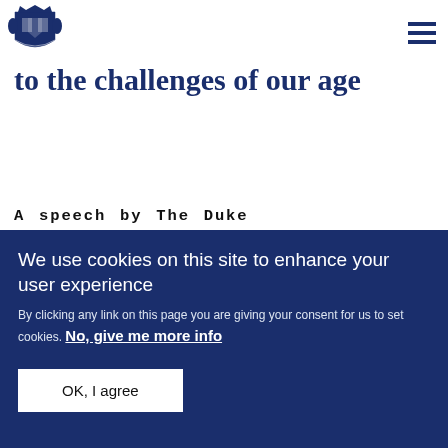[Figure (logo): UK Royal coat of arms / government crest logo in dark blue]
to the challenges of our age
A speech by The Duke of Cambridge at the third International Conference on the
We use cookies on this site to enhance your user experience
By clicking any link on this page you are giving your consent for us to set cookies. No, give me more info
OK, I agree